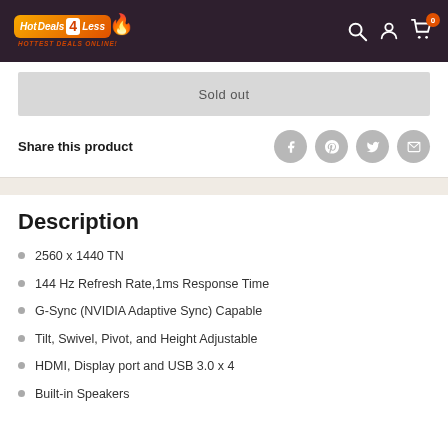Hot Deals 4 Less — HOTTEST DEALS ONLINE!
Sold out
Share this product
Description
2560 x 1440 TN
144 Hz Refresh Rate,1ms Response Time
G-Sync (NVIDIA Adaptive Sync) Capable
Tilt, Swivel, Pivot, and Height Adjustable
HDMI, Display port and USB 3.0 x 4
Built-in Speakers